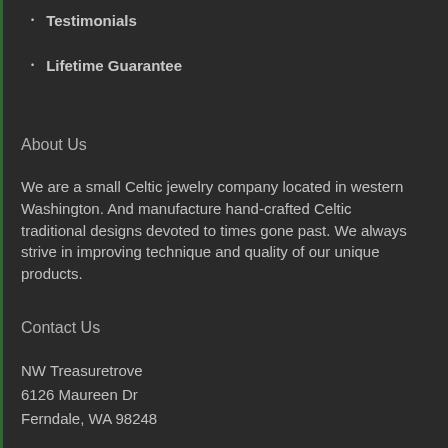Testimonials
Lifetime Guarantee
About Us
We are a small Celtic jewelry company located in western Washington. And manufacture hand-crafted Celtic traditional designs devoted to times gone past. We always strive in improving technique and quality of our unique products.
Contact Us
NW Treasuretrove
6126 Maureen Dr
Ferndale, WA 98248
mark(at)nwtreasuretrove.com